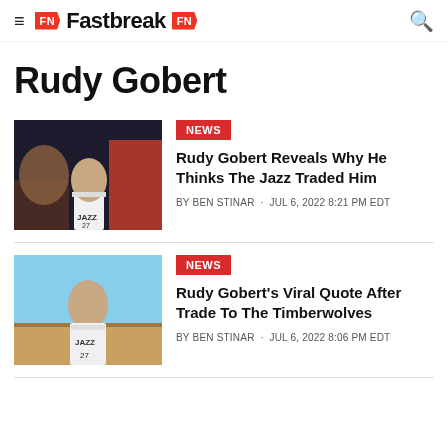Fastbreak FN
Rudy Gobert
[Figure (photo): Rudy Gobert in Utah Jazz #27 jersey looking upward, dark background]
NEWS
Rudy Gobert Reveals Why He Thinks The Jazz Traded Him
BY BEN STINAR · JUL 6, 2022 8:21 PM EDT
[Figure (photo): Rudy Gobert in Utah Jazz #27 jersey on basketball court, light blue background]
NEWS
Rudy Gobert's Viral Quote After Trade To The Timberwolves
BY BEN STINAR · JUL 6, 2022 8:06 PM EDT